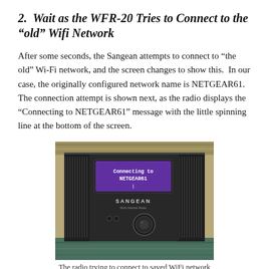2.  Wait as the WFR-20 Tries to Connect to the “old” Wifi Network
After some seconds, the Sangean attempts to connect to “the old” Wi-Fi network, and the screen changes to show this.  In our case, the originally configured network name is NETGEAR61.  The connection attempt is shown next, as the radio displays the “Connecting to NETGEAR61” message with the little spinning line at the bottom of the screen.
[Figure (photo): A Sangean WiFi Internet Radio device with its display showing 'Connecting to NETGEAR61' with a spinning cursor at the bottom, placed on a patterned fabric surface.]
The radio trying to connect to saved WiFi network